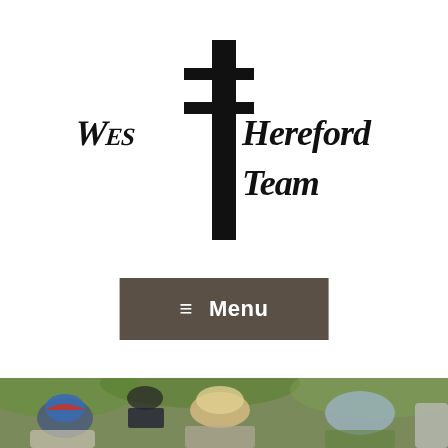[Figure (logo): West Hereford Team logo: a bold black cross/double-cross graphic with stylized gothic text reading 'West Hereford Team' integrated around the cross shape]
≡  Menu
[Figure (photo): Photo of people outdoors, bending/leaning over something in a green garden or churchyard setting. Visible are a person with a blue/red cap on the left, a person with light hair in the center, and others around them.]